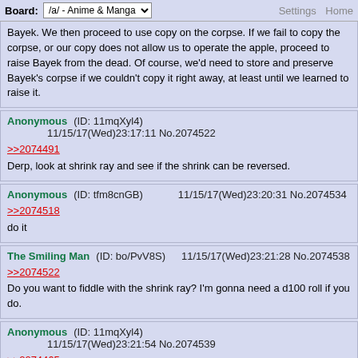Board: /a/ - Anime & Manga   Settings Home
Bayek. We then proceed to use copy on the corpse. If we fail to copy the corpse, or our copy does not allow us to operate the apple, proceed to raise Bayek from the dead. Of course, we'd need to store and preserve Bayek's corpse if we couldn't copy it right away, at least until we learned to raise it.
Anonymous (ID: 11mqXyl4)   11/15/17(Wed)23:17:11 No.2074522
>>2074491
Derp, look at shrink ray and see if the shrink can be reversed.
Anonymous (ID: tfm8cnGB)   11/15/17(Wed)23:20:31 No.2074534
>>2074518
do it
The Smiling Man (ID: bo/PvV8S)   11/15/17(Wed)23:21:28 No.2074538
>>2074522
Do you want to fiddle with the shrink ray? I'm gonna need a d100 roll if you do.
Anonymous (ID: 11mqXyl4)   11/15/17(Wed)23:21:54 No.2074539
>>2074465
>"...teach," the shade whispers. "You fight with a ghost, do you